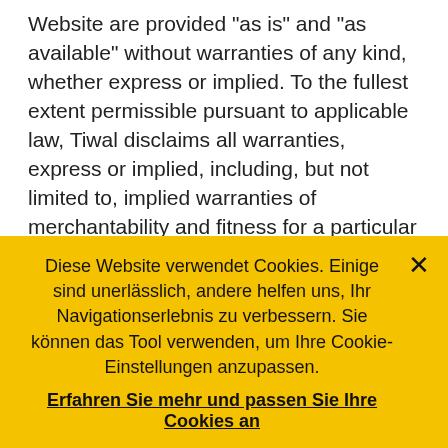Website are provided "as is" and "as available" without warranties of any kind, whether express or implied. To the fullest extent permissible pursuant to applicable law, Tiwal disclaims all warranties, express or implied, including, but not limited to, implied warranties of merchantability and fitness for a particular purpose and non-infringement. Tiwal does not represent or warrant that the functions contained in this Website will be uninterrupted or error-free, that the defects will be corrected, or that this Website or the server that makes this Website available are free of viruses or other harmful
Diese Website verwendet Cookies. Einige sind unerlässlich, andere helfen uns, Ihr Navigationserlebnis zu verbessern. Sie können das Tool verwenden, um Ihre Cookie-Einstellungen anzupassen.
Erfahren Sie mehr und passen Sie Ihre Cookies an